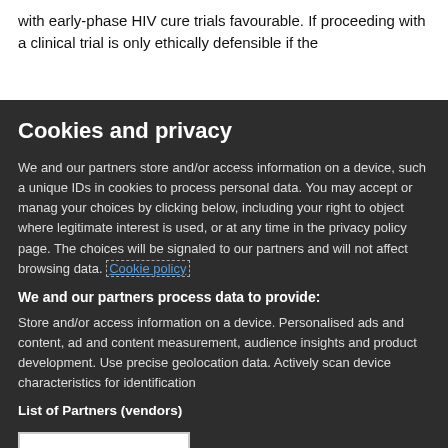with early-phase HIV cure trials favourable. If proceeding with a clinical trial is only ethically defensible if the
Cookies and privacy
We and our partners store and/or access information on a device, such as unique IDs in cookies to process personal data. You may accept or manage your choices by clicking below, including your right to object where legitimate interest is used, or at any time in the privacy policy page. These choices will be signaled to our partners and will not affect browsing data. Cookie policy
We and our partners process data to provide:
Store and/or access information on a device, Personalised ads and content, ad and content measurement, audience insights and product development. Use precise geolocation data. Actively scan device characteristics for identification
List of Partners (vendors)
I Accept